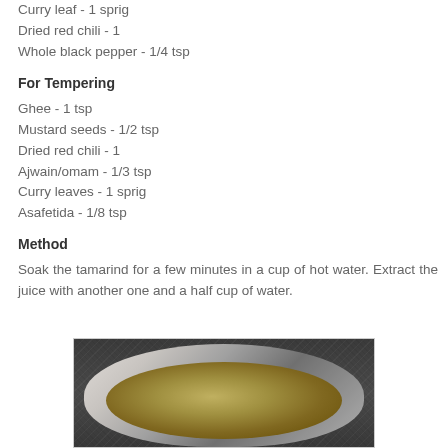Curry leaf - 1 sprig
Dried red chili - 1
Whole black pepper - 1/4 tsp
For Tempering
Ghee - 1 tsp
Mustard seeds - 1/2 tsp
Dried red chili - 1
Ajwain/omam - 1/3 tsp
Curry leaves - 1 sprig
Asafetida - 1/8 tsp
Method
Soak the tamarind for a few minutes in a cup of hot water. Extract the juice with another one and a half cup of water.
[Figure (photo): A stainless steel bowl containing tamarind extract (brown liquid) placed on a granite surface, viewed from above]